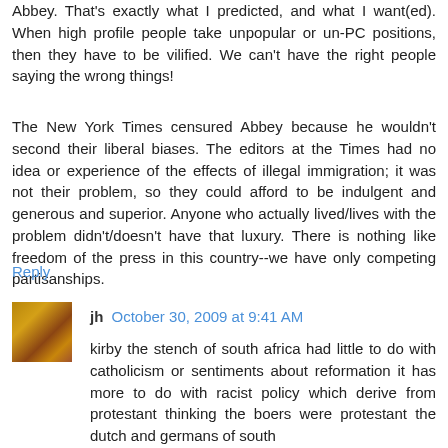Abbey. That's exactly what I predicted, and what I want(ed). When high profile people take unpopular or un-PC positions, then they have to be vilified. We can't have the right people saying the wrong things!
The New York Times censured Abbey because he wouldn't second their liberal biases. The editors at the Times had no idea or experience of the effects of illegal immigration; it was not their problem, so they could afford to be indulgent and generous and superior. Anyone who actually lived/lives with the problem didn't/doesn't have that luxury. There is nothing like freedom of the press in this country--we have only competing partisanships.
Reply
jh  October 30, 2009 at 9:41 AM
kirby the stench of south africa had little to do with catholicism or sentiments about reformation it has more to do with racist policy which derive from protestant thinking the boers were protestant the dutch and germans of south